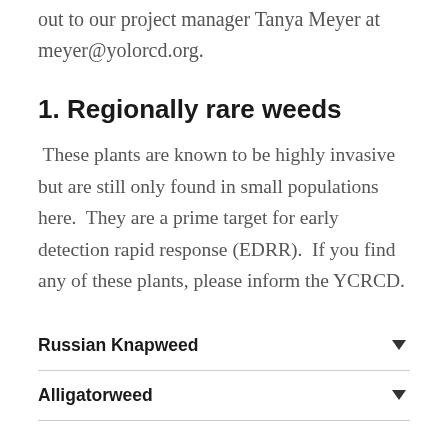out to our project manager Tanya Meyer at meyer@yolorcd.org.
1. Regionally rare weeds
These plants are known to be highly invasive but are still only found in small populations here.  They are a prime target for early detection rapid response (EDRR).  If you find any of these plants, please inform the YCRCD.
Russian Knapweed
Alligatorweed